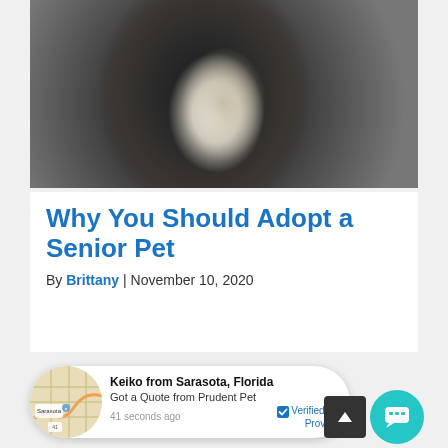[Figure (photo): Close-up photo of a black and white dog looking up, being petted by a person in jeans]
Why You Should Adopt a Senior Pet
By Brittany | November 10, 2020
[Figure (infographic): Notification popup: Keiko from Sarasota, Florida - Got a Quote from Prudent Pet - 41 seconds ago - Verified by Provely. Shows a map thumbnail of Sarasota.]